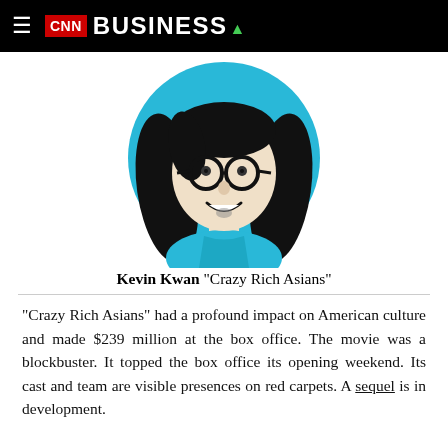CNN BUSINESS
[Figure (illustration): Illustrated portrait of Kevin Kwan with glasses and long dark hair on a teal/cyan circular background, wearing a blue shirt.]
Kevin Kwan "Crazy Rich Asians"
“Crazy Rich Asians” had a profound impact on American culture and made $239 million at the box office. The movie was a blockbuster. It topped the box office its opening weekend. Its cast and team are visible presences on red carpets. A sequel is in development.